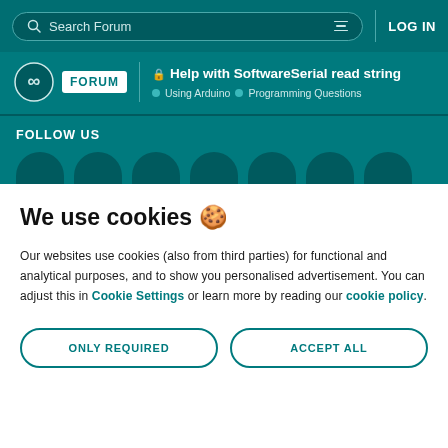Search Forum | LOG IN
Help with SoftwareSerial read string
Using Arduino > Programming Questions
FOLLOW US
We use cookies 🍪
Our websites use cookies (also from third parties) for functional and analytical purposes, and to show you personalised advertisement. You can adjust this in Cookie Settings or learn more by reading our cookie policy.
ONLY REQUIRED
ACCEPT ALL